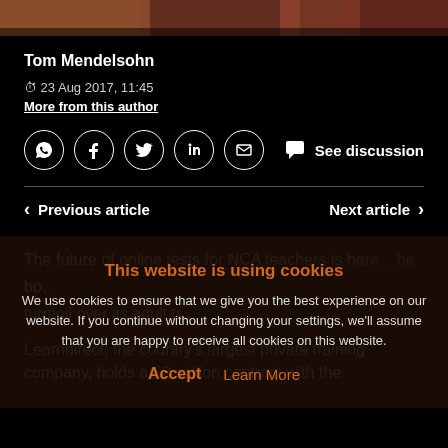[Figure (photo): Partial top image showing colorful figures, clipped at top of page]
Tom Mendelsohn
🕐 23 Aug 2017, 11:45
More from this author
[Figure (infographic): Social sharing icons row: WhatsApp, Facebook, Twitter, LinkedIn, Email circles, and See discussion button]
Previous article
Next article
The future of online tests for NCA teachers is here...
Learndirect, the country's largest private training company, holds a £2 million contract with the
This website is using cookies
We use cookies to ensure that we give you the best experience on our website. If you continue without changing your settings, we'll assume that you are happy to receive all cookies on this website.
Accept   Learn More